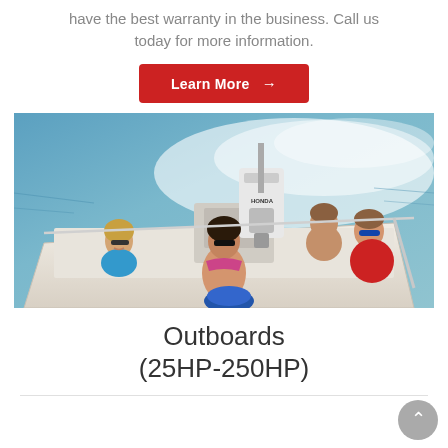have the best warranty in the business. Call us today for more information.
[Figure (other): Red 'Learn More' button with arrow pointing right]
[Figure (photo): Four people on a speedboat with a Honda outboard motor speeding across open water. Three people visible in the seating area, one driving. Women in bikinis, man in red shirt driving.]
Outboards (25HP-250HP)